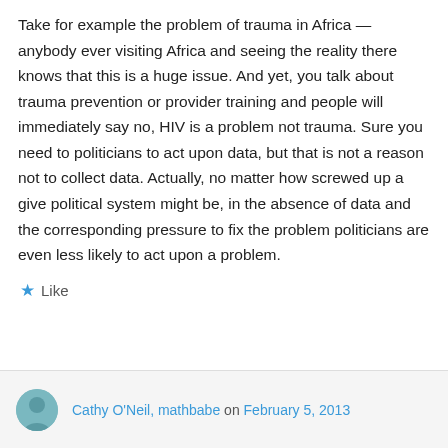Take for example the problem of trauma in Africa — anybody ever visiting Africa and seeing the reality there knows that this is a huge issue. And yet, you talk about trauma prevention or provider training and people will immediately say no, HIV is a problem not trauma. Sure you need to politicians to act upon data, but that is not a reason not to collect data. Actually, no matter how screwed up a give political system might be, in the absence of data and the corresponding pressure to fix the problem politicians are even less likely to act upon a problem.
★ Like
Cathy O'Neil, mathbabe on February 5, 2013